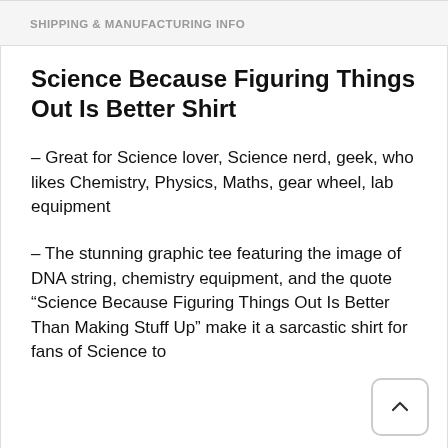SHIPPING & MANUFACTURING INFO
Science Because Figuring Things Out Is Better Shirt
– Great for Science lover, Science nerd, geek, who likes Chemistry, Physics, Maths, gear wheel, lab equipment
– The stunning graphic tee featuring the image of DNA string, chemistry equipment, and the quote “Science Because Figuring Things Out Is Better Than Making Stuff Up” make it a sarcastic shirt for fans of Science to